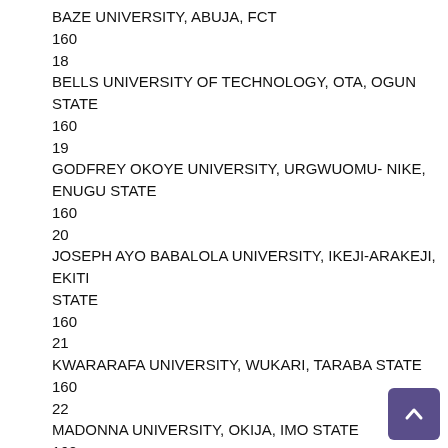BAZE UNIVERSITY, ABUJA, FCT
160
18
BELLS UNIVERSITY OF TECHNOLOGY, OTA, OGUN STATE
160
19
GODFREY OKOYE UNIVERSITY, URGWUOMU- NIKE, ENUGU STATE
160
20
JOSEPH AYO BABALOLA UNIVERSITY, IKEJI-ARAKEJI, EKITI STATE
160
21
KWARARAFA UNIVERSITY, WUKARI, TARABA STATE
160
22
MADONNA UNIVERSITY, OKIJA, IMO STATE
160
23
PAUL UNIVERSITY, AWKA, ANAMBRA STATE